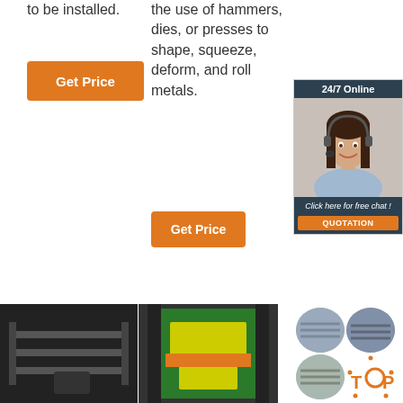to be installed.
the use of hammers, dies, or presses to shape, squeeze, deform, and roll metals.
[Figure (other): Orange 'Get Price' button on left]
[Figure (other): Orange 'Get Price' button center]
[Figure (other): Sidebar with 24/7 Online support agent photo, 'Click here for free chat!' and QUOTATION button]
[Figure (photo): Industrial metal forming machine parts - dark steel track/rail equipment]
[Figure (photo): Industrial press machine - green and yellow stamping/forging press]
[Figure (other): Four circular thumbnails of corrugated/metal roofing sheets with TOP logo]